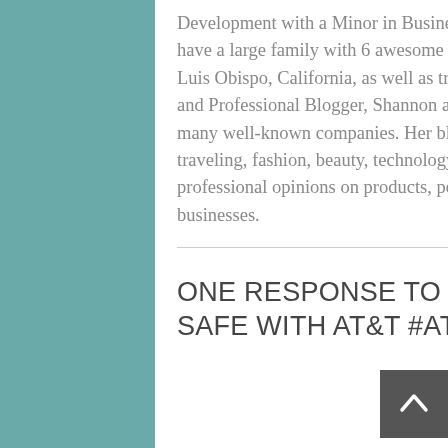Development with a Minor in Business Management. Shannon and her husband, Frank, have a large family with 6 awesome kids and love living on the Central Coast near San Luis Obispo, California, as well as traveling around the world. A full-time Social Media and Professional Blogger, Shannon also serves as a National Brand Ambassador for many well-known companies. Her blog focuses on motherhood, family fun activities, traveling, fashion, beauty, technology, wedding ideas and recipes while providing professional opinions on products, performances, restaurants, and a variety of businesses.
ONE RESPONSE TO “KEEPING OUR FAMILIES SAFE WITH AT&T #ATTMOBILESAFETY”